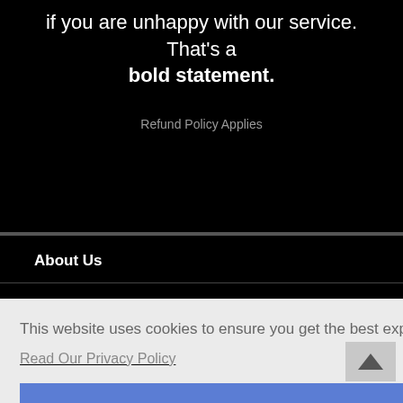if you are unhappy with our service. That's a bold statement.
Refund Policy Applies
About Us
Freelancing Blog
This website uses cookies to ensure you get the best experience on our website.
Read Our Privacy Policy
Accept!